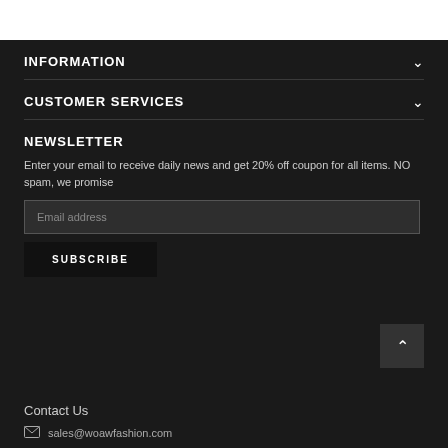INFORMATION
CUSTOMER SERVICES
NEWSLETTER
Enter your email to receive daily news and get 20% off coupon for all items. NO spam, we promise
Email address
SUBSCRIBE
Contact Us
sales@woawfashion.com